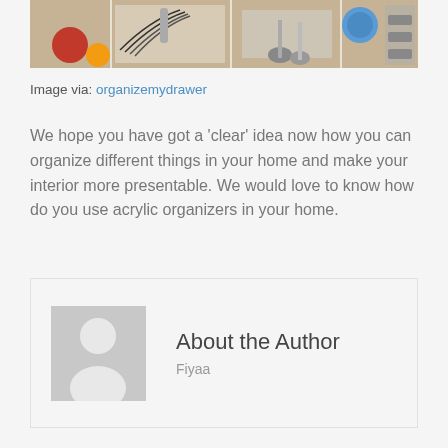[Figure (photo): Top portion of a kitchen drawer organizer photo showing a whisk, spoons, and colorful kitchen utensils in a clear acrylic organizer]
Image via: organizemydrawer
We hope you have got a ‘clear’ idea now how you can organize different things in your home and make your interior more presentable. We would love to know how do you use acrylic organizers in your home.
About the Author
Fiyaa